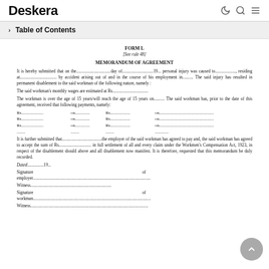Deskera
Table of Contents
FORM L
[See rule 48]
MEMORANDUM OF AGREEMENT
It is hereby submitted that on the................................day of.............................19... personal injury was caused to..................., residing at.................................. by accident arising out of and in the course of his employment in.......... The said injury has resulted in permanent disablement to the said workman of the following nature, namely :
The said workman's monthly wages are estimated at Rs.................................
The workman is over the age of 15 years/will reach the age of 15 years on.......... The said workman has, prior to the date of this agreement, received that following payments, namely:
Rs.................... on.............. Rs................... on..........................................................
Rs.................... on.............. Rs................... on..........................................................
Rs.................... on.............. Rs................... on..........................................................
......... ........ ........ ...........
It is further submitted that.....................................the employer of the said workman has agreed to pay and, the said workman has agreed to accept the sum of Rs.............................. in full settlement of all and every claim under the Workmen's Compensation Act, 1923, in respect of the disablement should above and all disablement now manifest. It is therefore, requested that this memorandum be duly recorded.
Dated...............19...
Signature of employer.......................................................................................................................
Witness.......................................................................................................................
Signature of workman.......................................................................................................................
Witness.......................................................................................................................